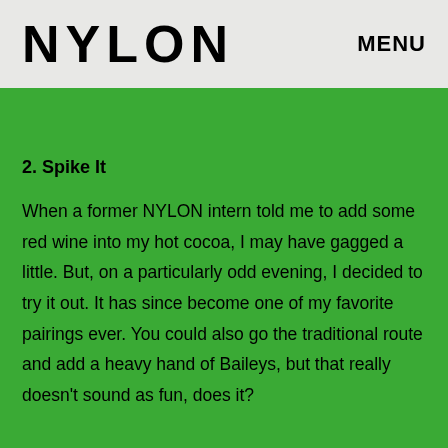NYLON   MENU
2. Spike It
When a former NYLON intern told me to add some red wine into my hot cocoa, I may have gagged a little. But, on a particularly odd evening, I decided to try it out. It has since become one of my favorite pairings ever. You could also go the traditional route and add a heavy hand of Baileys, but that really doesn't sound as fun, does it?